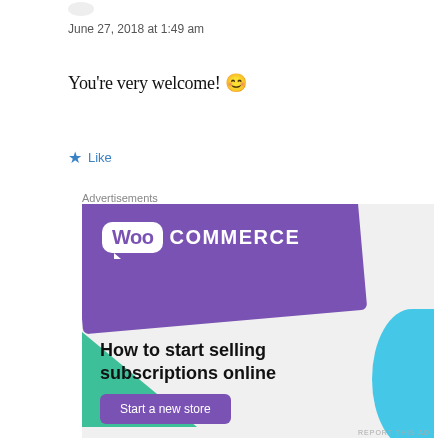June 27, 2018 at 1:49 am
You're very welcome! 😊
Like
Advertisements
[Figure (screenshot): WooCommerce advertisement banner showing purple header with WooCommerce logo, teal triangle, blue arc, and text 'How to start selling subscriptions online' with a 'Start a new store' button]
REPORT THIS AD